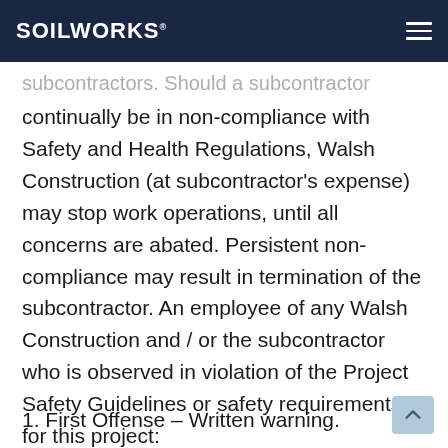SOILWORKS
subcontractors. Should a subcontractor continually be in non-compliance with Safety and Health Regulations, Walsh Construction (at subcontractor's expense) may stop work operations, until all concerns are abated. Persistent non-compliance may result in termination of the subcontractor. An employee of any Walsh Construction and / or the subcontractor who is observed in violation of the Project Safety Guidelines or safety requirements for this project:
1.  First Offense – Written warning.